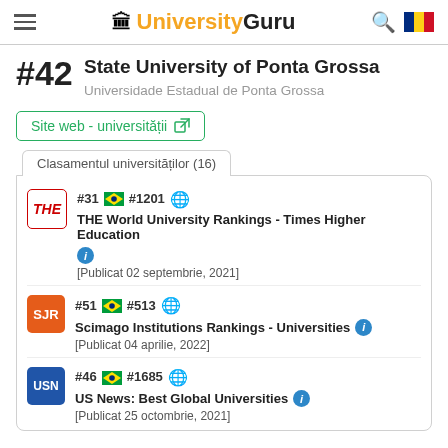UniversityGuru
#42 State University of Ponta Grossa
Universidade Estadual de Ponta Grossa
Site web - universității
Clasamentul universităților (16)
#31 🇧🇷 #1201 🌐 THE World University Rankings - Times Higher Education [Publicat 02 septembrie, 2021]
#51 🇧🇷 #513 🌐 Scimago Institutions Rankings - Universities [Publicat 04 aprilie, 2022]
#46 🇧🇷 #1685 🌐 US News: Best Global Universities [Publicat 25 octombrie, 2021]